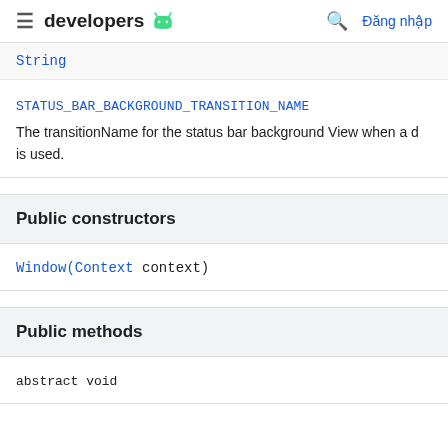≡ developers 🤖  🔍 Đăng nhập
String
STATUS_BAR_BACKGROUND_TRANSITION_NAME
The transitionName for the status bar background View when a d is used.
Public constructors
Window(Context context)
Public methods
abstract void